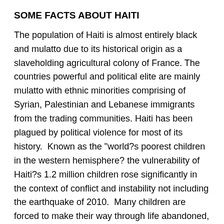SOME FACTS ABOUT HAITI
The population of Haiti is almost entirely black and mulatto due to its historical origin as a slaveholding agricultural colony of France. The countries powerful and political elite are mainly mulatto with ethnic minorities comprising of Syrian, Palestinian and Lebanese immigrants from the trading communities. Haiti has been plagued by political violence for most of its history.  Known as the "world?s poorest children in the western hemisphere? the vulnerability of Haiti?s 1.2 million children rose significantly in the context of conflict and instability not including the earthquake of 2010.  Many children are forced to make their way through life abandoned, malnourished and neglected. At Mission of TEARS we closely collaboration with licensed orphanages, medical communities and schools.
DEVELOPMENT PROGRAMS FOR HAITI
We are continuing to build the school in Port au Prince. The